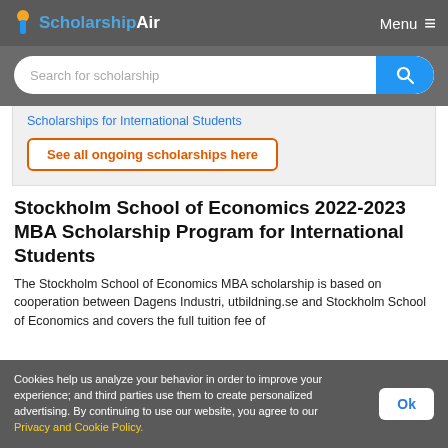ScholarshipAir — Menu
[Figure (screenshot): Search bar with blue search button]
Scholarships for International Students
See all ongoing scholarships here
Stockholm School of Economics 2022-2023 MBA Scholarship Program for International Students
The Stockholm School of Economics MBA scholarship is based on cooperation between Dagens Industri, utbildning.se and Stockholm School of Economics and covers the full tuition fee of
Cookies help us analyze your behavior in order to improve your experience; and third parties use them to create personalized advertising. By continuing to use our website, you agree to our Privacy and Cookie Policy.